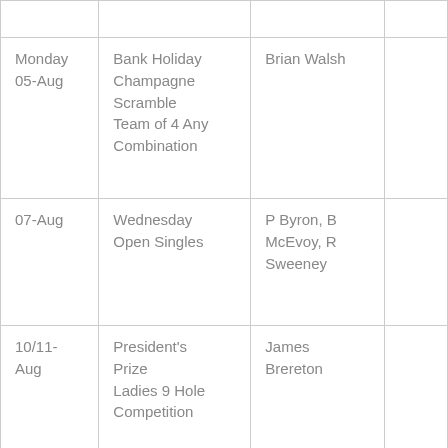| Date | Event | Organiser |  |
| --- | --- | --- | --- |
| Monday 05-Aug | Bank Holiday Champagne Scramble Team of 4 Any Combination | Brian Walsh |  |
| 07-Aug | Wednesday Open Singles | P Byron, B McEvoy, R Sweeney |  |
| 10/11-Aug | President's Prize Ladies 9 Hole Competition | James Brereton |  |
| 14-Aug | Wednesday | Michael & |  |